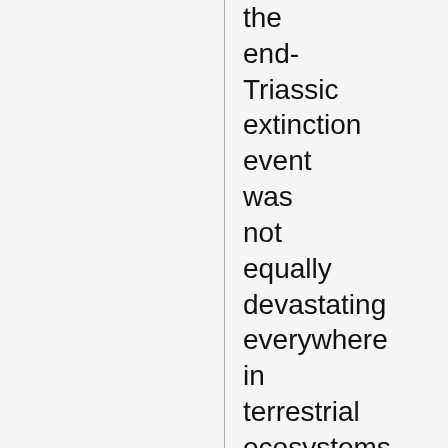the end-Triassic extinction event was not equally devastating everywhere in terrestrial ecosystems (see below), several